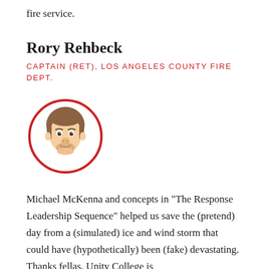fire service.
Rory Rehbeck
CAPTAIN (RET), LOS ANGELES COUNTY FIRE DEPT.
[Figure (illustration): Cartoon avatar illustration of a man with brown hair and beard, inside a red circle border.]
Michael McKenna and concepts in "The Response Leadership Sequence" helped us save the (pretend) day from a (simulated) ice and wind storm that could have (hypothetically) been (fake) devastating. Thanks fellas. Unity College is